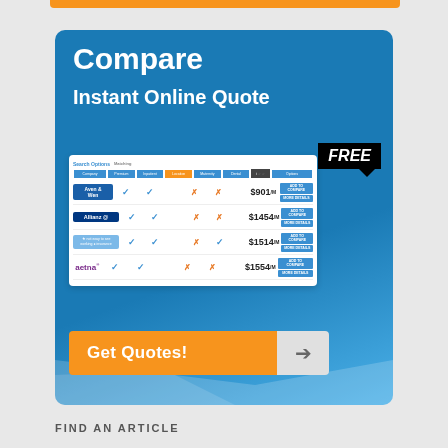[Figure (infographic): Insurance quote comparison advertisement with blue background, showing Compare Instant Online Quote headline, a screenshot of an insurance comparison table with companies Avemco, Allianz, unnamed provider, Aetna and prices $901/m, $1454/m, $1514/m, $1554/m, a FREE badge, and a Get Quotes! orange button at the bottom.]
FIND AN ARTICLE